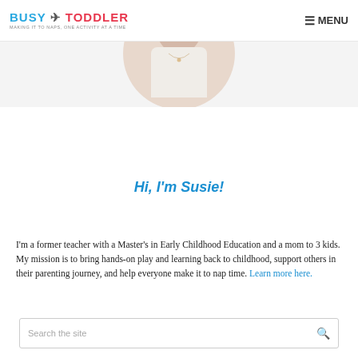BUSY TODDLER — MAKING IT TO NAPS, ONE ACTIVITY AT A TIME | MENU
[Figure (photo): Circular cropped profile photo of a woman in a white top, showing torso and neckline with a small necklace, against a light beige background]
Hi, I'm Susie!
I'm a former teacher with a Master's in Early Childhood Education and a mom to 3 kids. My mission is to bring hands-on play and learning back to childhood, support others in their parenting journey, and help everyone make it to nap time. Learn more here.